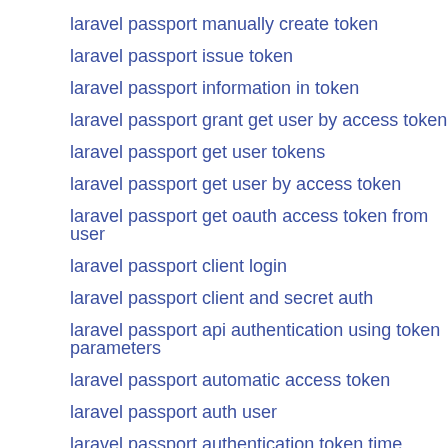laravel passport manually create token
laravel passport issue token
laravel passport information in token
laravel passport grant get user by access token
laravel passport get user tokens
laravel passport get user by access token
laravel passport get oauth access token from user
laravel passport client login
laravel passport client and secret auth
laravel passport api authentication using token parameters
laravel passport automatic access token
laravel passport auth user
laravel passport authentication token time